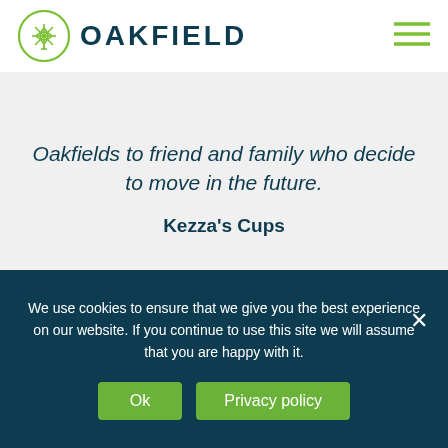[Figure (logo): Oakfield logo: green circular badge with leaf/cross pattern and OAKFIELD text in dark teal]
Oakfields to friend and family who decide to move in the future.
Kezza's Cups
Similar Properties
We use cookies to ensure that we give you the best experience on our website. If you continue to use this site we will assume that you are happy with it.